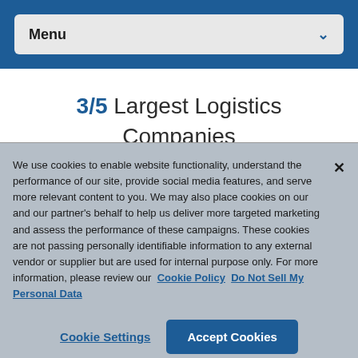Menu
3/5 Largest Logistics Companies
We use cookies to enable website functionality, understand the performance of our site, provide social media features, and serve more relevant content to you. We may also place cookies on our and our partner's behalf to help us deliver more targeted marketing and assess the performance of these campaigns. These cookies are not passing personally identifiable information to any external vendor or supplier but are used for internal purpose only. For more information, please review our Cookie Policy  Do Not Sell My Personal Data
Cookie Settings  Accept Cookies